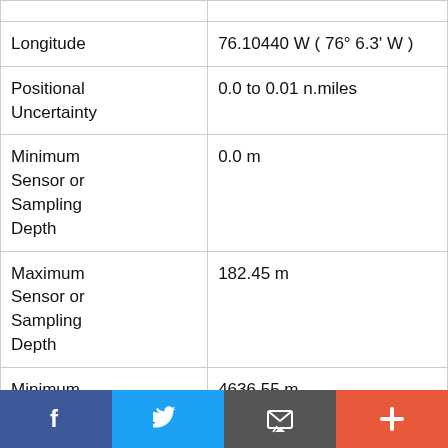| Field | Value |
| --- | --- |
|  |  |
| Longitude | 76.10440 W ( 76° 6.3' W ) |
| Positional Uncertainty | 0.0 to 0.01 n.miles |
| Minimum Sensor or Sampling Depth | 0.0 m |
| Maximum Sensor or Sampling Depth | 182.45 m |
| Minimum Sensor or | 4636.55 m |